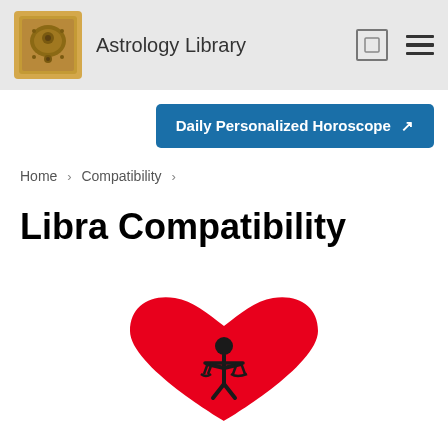Astrology Library
Daily Personalized Horoscope ↗
Home > Compatibility >
Libra Compatibility
[Figure (illustration): Red heart with Libra scales symbol in center, surrounded by red stars radiating outward on a white background]